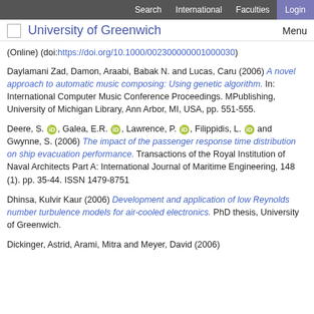Search  International  Faculties  Login
University of Greenwich   Menu
(Online) (doi:https://doi.org/10.1000/0023000000010000)
Daylamani Zad, Damon, Araabi, Babak N. and Lucas, Caru (2006) A novel approach to automatic music composing: Using genetic algorithm. In: International Computer Music Conference Proceedings. MPublishing, University of Michigan Library, Ann Arbor, MI, USA, pp. 551-555.
Deere, S., Galea, E.R., Lawrence, P., Filippidis, L. and Gwynne, S. (2006) The impact of the passenger response time distribution on ship evacuation performance. Transactions of the Royal Institution of Naval Architects Part A: International Journal of Maritime Engineering, 148 (1). pp. 35-44. ISSN 1479-8751
Dhinsa, Kulvir Kaur (2006) Development and application of low Reynolds number turbulence models for air-cooled electronics. PhD thesis, University of Greenwich.
Dickinger, Astrid, Arami, Mitra and Meyer, David (2006)